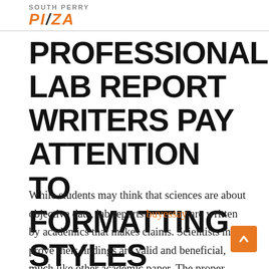South Perry Pizza
PROFESSIONAL LAB REPORT WRITERS PAY ATTENTION TO FORMATTING STYLES
While students may think that sciences are about objective data, lab reports buyessay are written by academics that makes claims. Scientists must prove their findings are valid and beneficial, much like other academic paper. The proper presentation is essential when making a quality lab report. Professional lab report writers have several years of expertise and are well-versed in the academic